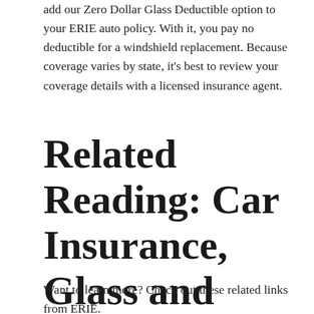add our Zero Dollar Glass Deductible option to your ERIE auto policy. With it, you pay no deductible for a windshield replacement. Because coverage varies by state, it's best to review your coverage details with a licensed insurance agent.
Related Reading: Car Insurance, Glass and Windshields
Want to learn more? Check out these related links from ERIE.